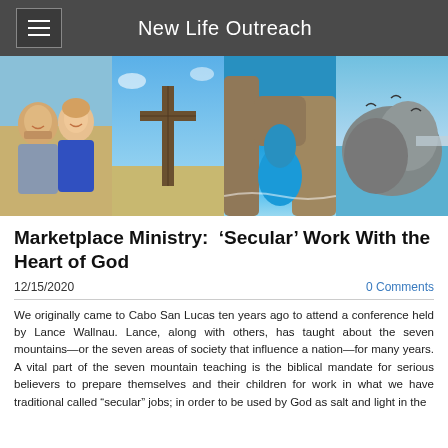New Life Outreach
[Figure (photo): Four-panel photo strip: couple smiling outdoors, large cross monument, El Arco rock arch in Cabo San Lucas, rocky coastal formation with birds]
Marketplace Ministry:  ‘Secular’ Work With the Heart of God
12/15/2020
0 Comments
We originally came to Cabo San Lucas ten years ago to attend a conference held by Lance Wallnau. Lance, along with others, has taught about the seven mountains—or the seven areas of society that influence a nation—for many years. A vital part of the seven mountain teaching is the biblical mandate for serious believers to prepare themselves and their children for work in what we have traditional called “secular” jobs; in order to be used by God as salt and light in the